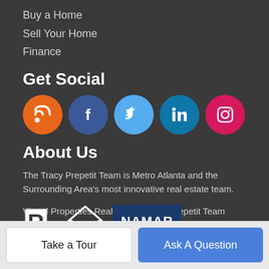Buy a Home
Sell Your Home
Finance
Get Social
[Figure (infographic): Row of five social media icon circles: RSS (orange), Facebook (dark blue), Twitter (light blue), LinkedIn (teal blue), Instagram (pink/magenta)]
About Us
The Tracy Prepetit Team is Metro Atlanta and the Surrounding Area's most innovative real estate team.
Virtual Properties Realty | The Tracy Prepetit Team
2750 Premiere Parkway Suite 200, Duluth, GA 30097
678-428-2651
[Figure (logo): Three logos in a row: Realtor (R block logo), house outline logo, NAMAR (blue rectangle with white text)]
Take a Tour
Ask A Question